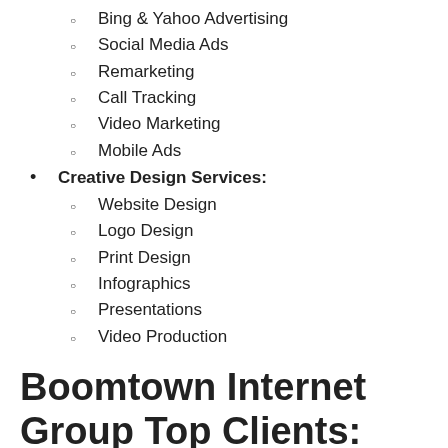Bing & Yahoo Advertising
Social Media Ads
Remarketing
Call Tracking
Video Marketing
Mobile Ads
Creative Design Services:
Website Design
Logo Design
Print Design
Infographics
Presentations
Video Production
Boomtown Internet Group Top Clients:
BLACK STONE
East Coast TRANSPORT
LumaBase